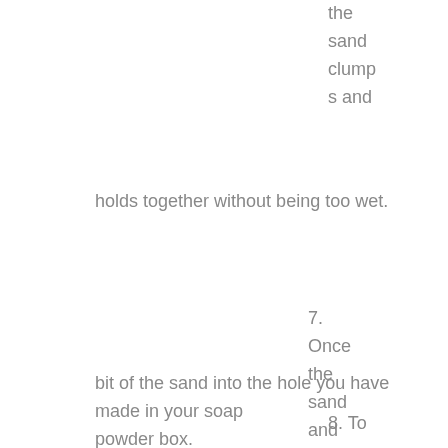the sand clumps and holds together without being too wet.
7. Once the sand and PVA are well mixed, pop a bit of the sand into the hole you have made in your soap powder box.
8. To